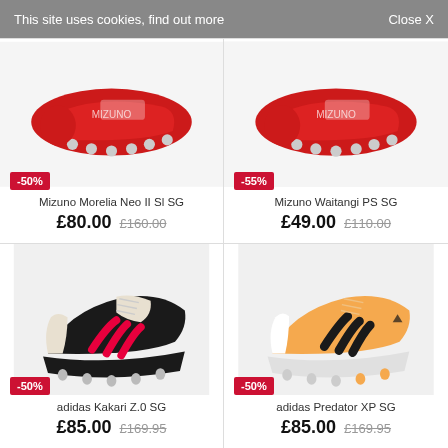This site uses cookies, find out more   Close X
[Figure (photo): Mizuno Morelia Neo II SI SG football boot in red, viewed from back/sole, showing studs. -50% discount badge.]
Mizuno Morelia Neo II Sl SG
£80.00  £160.00
[Figure (photo): Mizuno Waitangi PS SG football boot in red, back view showing studs. -55% discount badge.]
Mizuno Waitangi PS SG
£49.00  £110.00
[Figure (photo): Adidas Kakari Z.0 SG rugby boot in black and red, side view. -50% discount badge.]
adidas Kakari Z.0 SG
£85.00  £169.95
[Figure (photo): Adidas Predator XP SG football boot in orange/peach with black stripes. -50% discount badge.]
adidas Predator XP SG
£85.00  £169.95